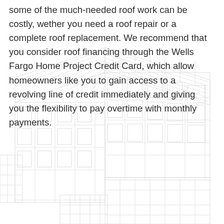some of the much-needed roof work can be costly, wether you need a roof repair or a complete roof replacement. We recommend that you consider roof financing through the Wells Fargo Home Project Credit Card, which allow homeowners like you to gain access to a revolving line of credit immediately and giving you the flexibility to pay overtime with monthly payments.
[Figure (illustration): Wireframe architectural illustration of a building shown in isometric/axonometric view, rendered in light gray lines on white background, showing structural details of floors, walls, columns, and roof.]